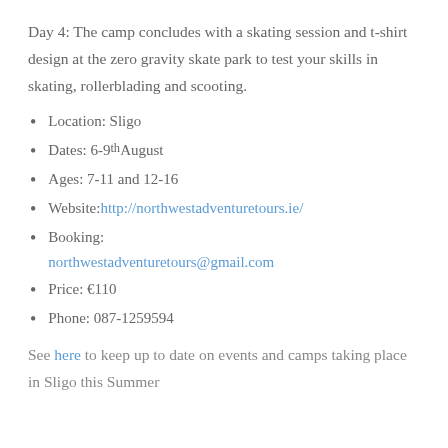Day 4: The camp concludes with a skating session and t-shirt design at the zero gravity skate park to test your skills in skating, rollerblading and scooting.
Location: Sligo
Dates: 6-9th August
Ages: 7-11 and 12-16
Website: http://northwestadventuretours.ie/
Booking: northwestadventuretours@gmail.com
Price: €110
Phone: 087-1259594
See here to keep up to date on events and camps taking place in Sligo this Summer